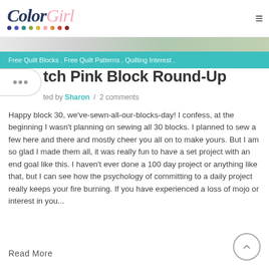ColorGirl
[Figure (illustration): ColorGirl quilting blog header with colorful fabric image strip and teal navigation bar showing Free Quilt Blocks, Free Quilt Patterns, Quilting Interest]
Stitch Pink Block Round-Up
Posted by Sharon / 2 comments
Happy block 30, we've-sewn-all-our-blocks-day! I confess, at the beginning I wasn't planning on sewing all 30 blocks. I planned to sew a few here and there and mostly cheer you all on to make yours. But I am so glad I made them all, it was really fun to have a set project with an end goal like this. I haven't ever done a 100 day project or anything like that, but I can see how the psychology of committing to a daily project really keeps your fire burning. If you have experienced a loss of mojo or interest in you...
Read More